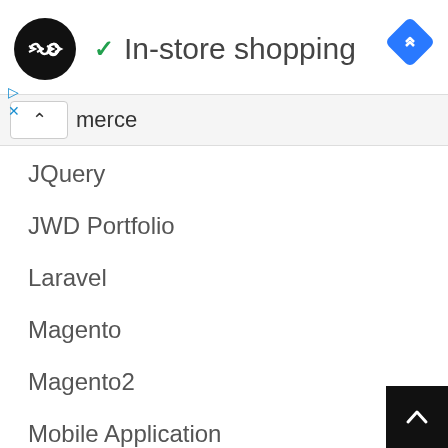[Figure (screenshot): App/website header with circular logo icon (black circle with double arrow), green checkmark, title 'In-store shopping', and blue navigation diamond icon in top right]
In-store shopping
merce
JQuery
JWD Portfolio
Laravel
Magento
Magento2
Mobile Application
MySql
Others